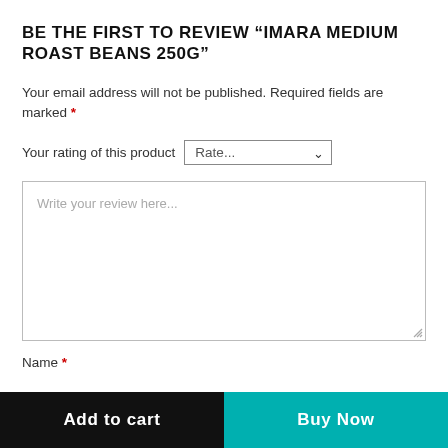BE THE FIRST TO REVIEW “IMARA MEDIUM ROAST BEANS 250G”
Your email address will not be published. Required fields are marked *
Your rating of this product [Rate... dropdown]
Write your review here... [textarea]
Name *
Add to cart
Buy Now